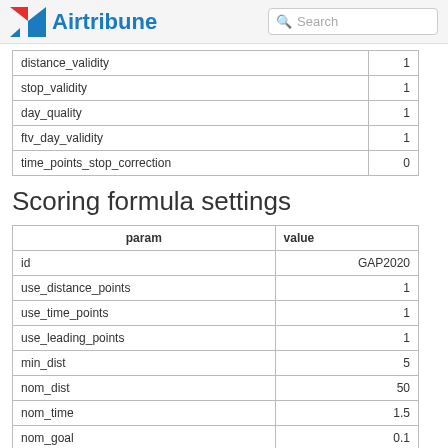Airtribune Search
| param | value |
| --- | --- |
| distance_validity | 1 |
| stop_validity | 1 |
| day_quality | 1 |
| ftv_day_validity | 1 |
| time_points_stop_correction | 0 |
Scoring formula settings
| param | value |
| --- | --- |
| id | GAP2020 |
| use_distance_points | 1 |
| use_time_points | 1 |
| use_leading_points | 1 |
| min_dist | 5 |
| nom_dist | 50 |
| nom_time | 1.5 |
| nom_goal | 0.1 |
| nom_launch | 0.9 |